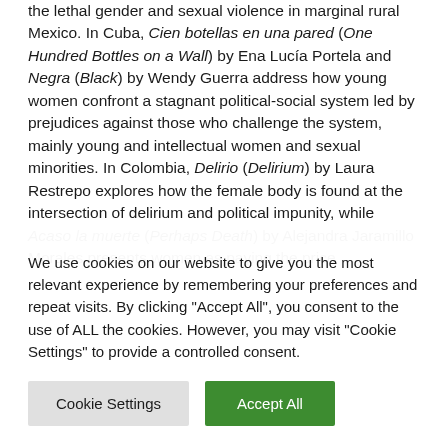the lethal gender and sexual violence in marginal rural Mexico. In Cuba, Cien botellas en una pared (One Hundred Bottles on a Wall) by Ena Lucía Portela and Negra (Black) by Wendy Guerra address how young women confront a stagnant political-social system led by prejudices against those who challenge the system, mainly young and intellectual women and sexual minorities. In Colombia, Delirio (Delirium) by Laura Restrepo explores how the female body is found at the intersection of delirium and political impunity, while Acaso la muerte (Perhaps Death) by Alejandra Jaramillo Morales presents women as paying the price
We use cookies on our website to give you the most relevant experience by remembering your preferences and repeat visits. By clicking "Accept All", you consent to the use of ALL the cookies. However, you may visit "Cookie Settings" to provide a controlled consent.